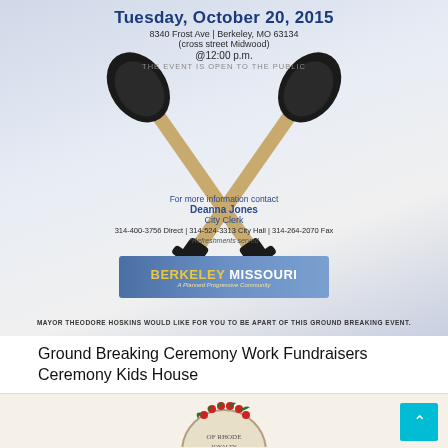[Figure (photo): Groundbreaking ceremony flyer with crossed shovels image on a gray-blue gradient background. Shows date Tuesday October 20 2015, address 8340 Frost Ave Berkeley MO 63134, time 12:00 p.m., contact info for Deanna Jones City Clerk, Berkeley Missouri banner, and mayor attribution.]
Ground Breaking Ceremony Work Fundraisers Ceremony Kids House
[Figure (photo): Partial view of a Rhode Island state seal or medallion on a light beige background at the bottom of the page.]